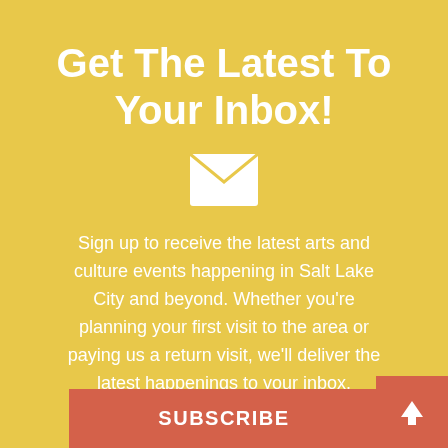Get The Latest To Your Inbox!
[Figure (illustration): White envelope icon (mail symbol) on golden yellow background]
Sign up to receive the latest arts and culture events happening in Salt Lake City and beyond. Whether you're planning your first visit to the area or paying us a return visit, we'll deliver the latest happenings to your inbox.
SUBSCRIBE